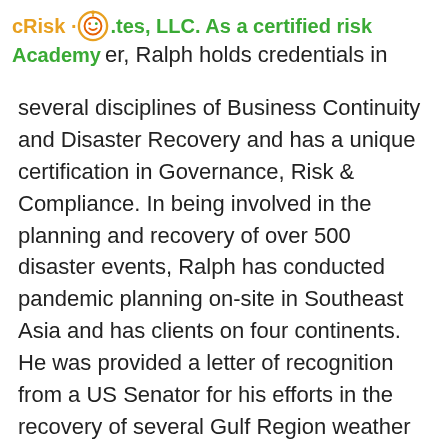cRisk Academy [logo]
tes, LLC. As a certified risk er, Ralph holds credentials in several disciplines of Business Continuity and Disaster Recovery and has a unique certification in Governance, Risk & Compliance. In being involved in the planning and recovery of over 500 disaster events, Ralph has conducted pandemic planning on-site in Southeast Asia and has clients on four continents. He was provided a letter of recognition from a US Senator for his efforts in the recovery of several Gulf Region weather events and is a frequent speaker in national media events.